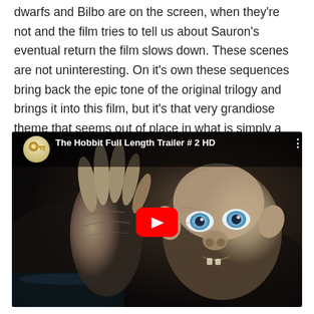dwarfs and Bilbo are on the screen, when they're not and the film tries to tell us about Sauron's eventual return the film slows down. These scenes are not uninteresting. On it's own these sequences bring back the epic tone of the original trilogy and brings it into this film, but it's that very grandiose theme that seems out of place in what is simply a “men on a mission” story.
[Figure (screenshot): YouTube video thumbnail for 'The Hobbit Full Length Trailer # 2 HD' showing Gollum character with a raised hand and blue eyes against a dark background, with a red YouTube play button in the center]